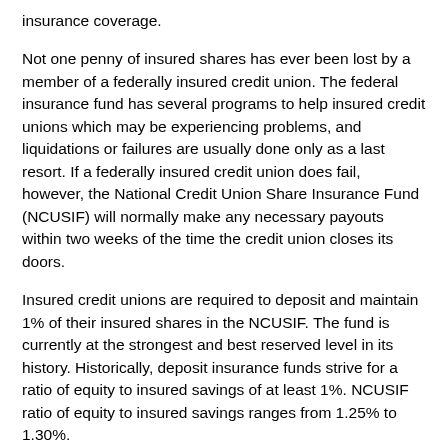insurance coverage.
Not one penny of insured shares has ever been lost by a member of a federally insured credit union. The federal insurance fund has several programs to help insured credit unions which may be experiencing problems, and liquidations or failures are usually done only as a last resort. If a federally insured credit union does fail, however, the National Credit Union Share Insurance Fund (NCUSIF) will normally make any necessary payouts within two weeks of the time the credit union closes its doors.
Insured credit unions are required to deposit and maintain 1% of their insured shares in the NCUSIF. The fund is currently at the strongest and best reserved level in its history. Historically, deposit insurance funds strive for a ratio of equity to insured savings of at least 1%. NCUSIF ratio of equity to insured savings ranges from 1.25% to 1.30%.
As a member of Parkview Community Federal Credit Union, you do not pay directly for your share insurance protection. Parkview Community Federal Credit Union pays into the NCUSIF a deposit based on the total amount of insured shares